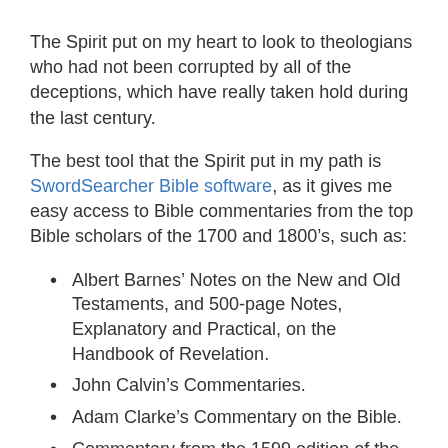The Spirit put on my heart to look to theologians who had not been corrupted by all of the deceptions, which have really taken hold during the last century.
The best tool that the Spirit put in my path is SwordSearcher Bible software, as it gives me easy access to Bible commentaries from the top Bible scholars of the 1700 and 1800’s, such as:
Albert Barnes’ Notes on the New and Old Testaments, and 500-page Notes, Explanatory and Practical, on the Handbook of Revelation.
John Calvin’s Commentaries.
Adam Clarke’s Commentary on the Bible.
Commentary from the 1599 edition of the Geneva Bible.
John Gill’s Exposition of the Entire Bible.